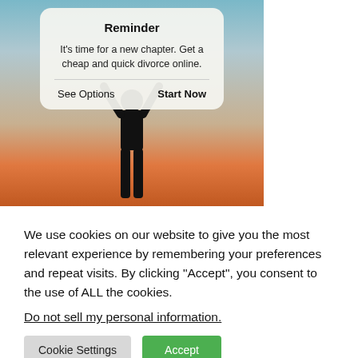[Figure (photo): A silhouette of a person standing with arms raised against a sunset sky background, with a modal dialog overlay showing a reminder about getting a cheap and quick divorce online, with 'See Options' and 'Start Now' buttons.]
We use cookies on our website to give you the most relevant experience by remembering your preferences and repeat visits. By clicking “Accept”, you consent to the use of ALL the cookies.
Do not sell my personal information.